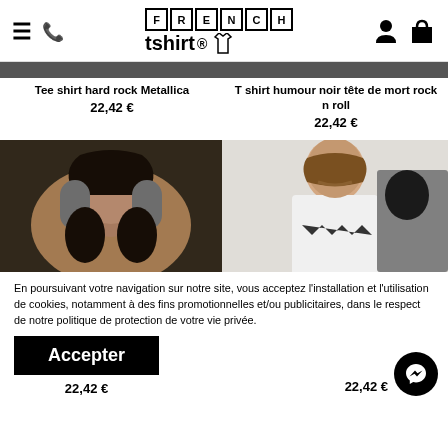French Tshirt - navigation header with menu, phone, user and bag icons
Tee shirt hard rock Metallica
22,42 €
T shirt humour noir tête de mort rock n roll
22,42 €
[Figure (photo): Woman with headphones smiling, wearing black top]
[Figure (photo): Man with beard wearing white t-shirt with Beatles figures print]
En poursuivant votre navigation sur notre site, vous acceptez l'installation et l'utilisation de cookies, notamment à des fins promotionnelles et/ou publicitaires, dans le respect de notre politique de protection de votre vie privée.
Accepter
22,42 €
22,42 €